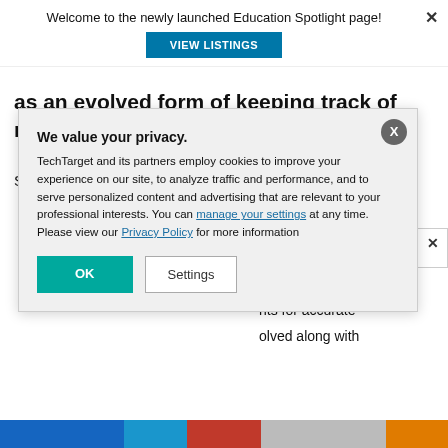Welcome to the newly launched Education Spotlight page!
as an evolved form of keeping track of money.
Source: https://distantjob.com/blog/hire-blockchain-
v transactions
s is to use
nts for accurate
olved along with
SC Members
We value your privacy.
TechTarget and its partners employ cookies to improve your experience on our site, to analyze traffic and performance, and to serve personalized content and advertising that are relevant to your professional interests. You can manage your settings at any time. Please view our Privacy Policy for more information